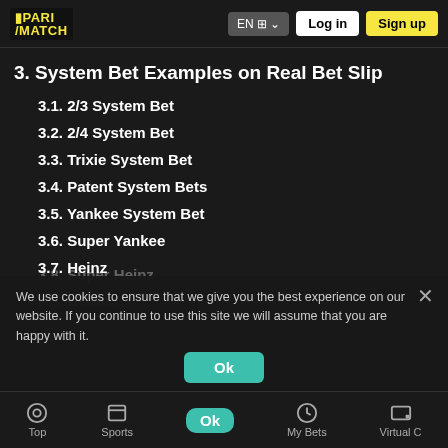Parimatch — EN | Log in | Sign up
3. System Bet Examples on Real Bet Slip
3.1. 2/3 System Bet
3.2. 2/4 System Bet
3.3. Trixie System Bet
3.4. Patent System Bets
3.5. Yankee System Bet
3.6. Super Yankee
3.7. Heinz
3.8. Super Heinz
3.9. Goliath
We use cookies to ensure that we give you the best experience on our website. If you continue to use this site we will assume that you are happy with it.
Top | Sports | My Bets | Virtual C